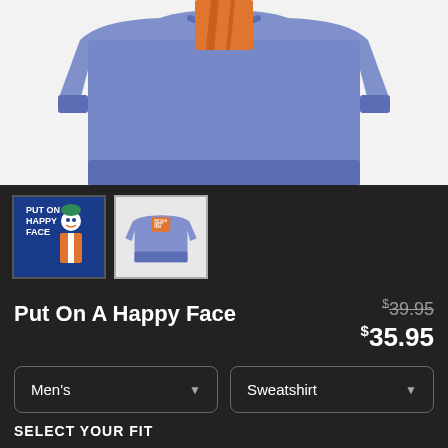[Figure (photo): Blue sweatshirt product photo showing close-up of heather blue crewneck sweatshirt with orange graphic detail at top, folded at bottom]
[Figure (photo): Two product thumbnail images: first shows blue square with white text PUT ON A HAPPY FACE and joker character in orange suit; second shows the blue sweatshirt worn/displayed with the graphic]
Put On A Happy Face
$39.95 (strikethrough) $35.95
Men's (dropdown) Sweatshirt (dropdown)
SELECT YOUR FIT